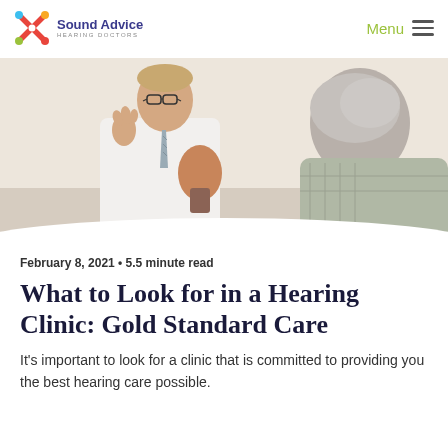[Figure (logo): Sound Advice Hearing Doctors logo with colorful X icon and blue text]
Menu
[Figure (photo): A doctor in a white coat wearing glasses speaks to an elderly patient with gray hair, holding an anatomical ear model in a clinical setting]
February 8, 2021 • 5.5 minute read
What to Look for in a Hearing Clinic: Gold Standard Care
It's important to look for a clinic that is committed to providing you the best hearing care possible.